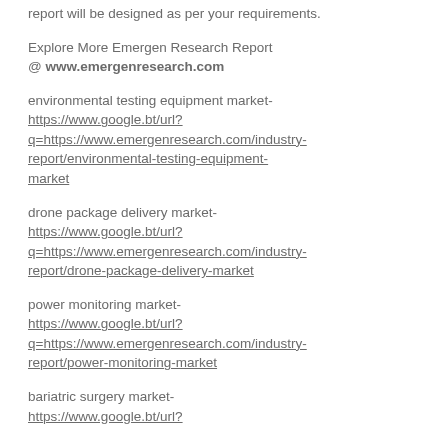report will be designed as per your requirements.
Explore More Emergen Research Report @ www.emergenresearch.com
environmental testing equipment market-
https://www.google.bt/url?q=https://www.emergenresearch.com/industry-report/environmental-testing-equipment-market
drone package delivery market-
https://www.google.bt/url?q=https://www.emergenresearch.com/industry-report/drone-package-delivery-market
power monitoring market-
https://www.google.bt/url?q=https://www.emergenresearch.com/industry-report/power-monitoring-market
bariatric surgery market-
https://www.google.bt/url?